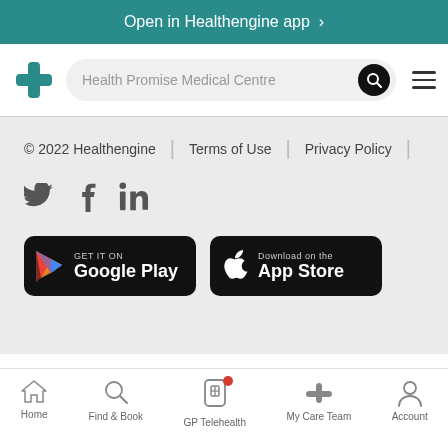Open in Healthengine app >
[Figure (logo): Healthengine logo (teal cross/plus) with search bar showing 'Health Promise Medical Centre', search button, and hamburger menu]
© 2022 Healthengine | Terms of Use | Privacy Policy
[Figure (illustration): Social media icons: Twitter bird, Facebook f, LinkedIn in]
[Figure (illustration): Google Play and App Store download badges]
Home | Find & Book | GP Telehealth | My Care Team | Account